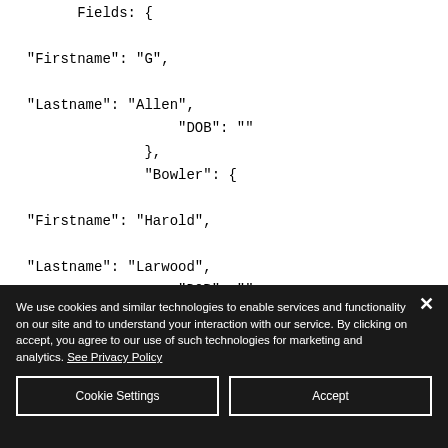Fields: {
  "Firstname": "G",

  "Lastname": "Allen",
              "DOB": ""
          },
          "Bowler": {

  "Firstname": "Harold",

  "Lastname": "Larwood",
              "DOB": ""
We use cookies and similar technologies to enable services and functionality on our site and to understand your interaction with our service. By clicking on accept, you agree to our use of such technologies for marketing and analytics. See Privacy Policy
Cookie Settings
Accept